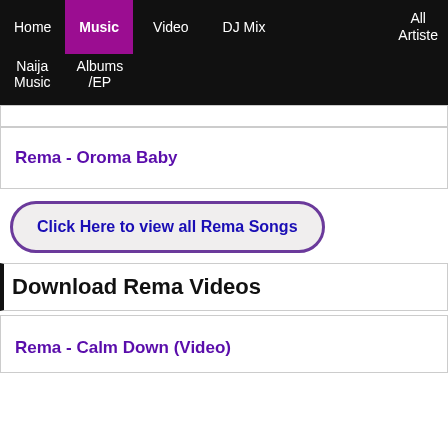Home | Music | Video | DJ Mix | All Artiste | Naija Music | Albums/EP
Rema - Oroma Baby
Click Here to view all Rema Songs
Download Rema Videos
Rema - Calm Down (Video)